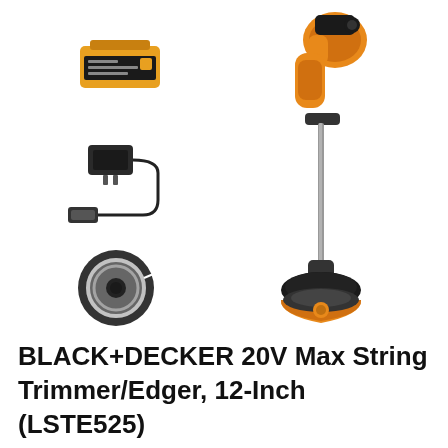[Figure (photo): Product photo of BLACK+DECKER 20V Max String Trimmer/Edger LSTE525, showing the main orange and black string trimmer tool, along with accessories: a 20V lithium battery, a charger/adapter, and a spool of trimmer line.]
BLACK+DECKER 20V Max String Trimmer/Edger, 12-Inch (LSTE525)